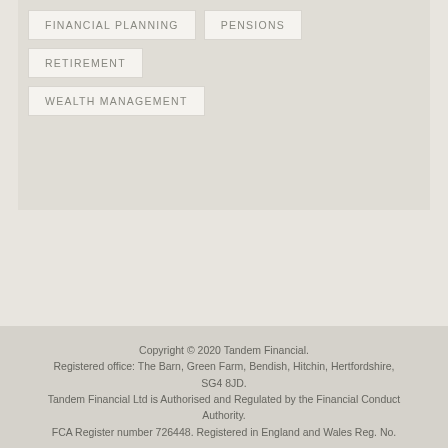FINANCIAL PLANNING
PENSIONS
RETIREMENT
WEALTH MANAGEMENT
Copyright © 2020 Tandem Financial. Registered office: The Barn, Green Farm, Bendish, Hitchin, Hertfordshire, SG4 8JD. Tandem Financial Ltd is Authorised and Regulated by the Financial Conduct Authority. FCA Register number 726448. Registered in England and Wales Reg. No.
We use cookies to offer you a better browsing experience and analyse site traffic. If you continue to use this site, you consent to our use of cookies. Find out more.